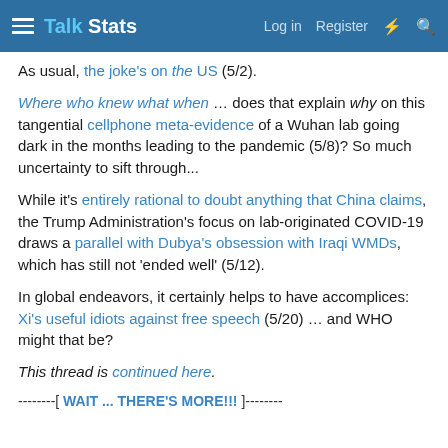Talk Stats  Log in  Register
As usual, the joke's on the US (5/2).
Where who knew what when … does that explain why on this tangential cellphone meta-evidence of a Wuhan lab going dark in the months leading to the pandemic (5/8)? So much uncertainty to sift through...
While it's entirely rational to doubt anything that China claims, the Trump Administration's focus on lab-originated COVID-19 draws a parallel with Dubya's obsession with Iraqi WMDs, which has still not 'ended well' (5/12).
In global endeavors, it certainly helps to have accomplices: Xi's useful idiots against free speech (5/20) … and WHO might that be?
This thread is continued here.
--------[ WAIT ... THERE'S MORE!!! ]--------